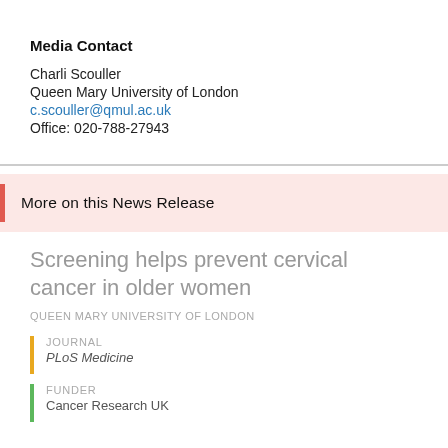Media Contact
Charli Scouller
Queen Mary University of London
c.scouller@qmul.ac.uk
Office: 020-788-27943
More on this News Release
Screening helps prevent cervical cancer in older women
QUEEN MARY UNIVERSITY OF LONDON
JOURNAL
PLoS Medicine
FUNDER
Cancer Research UK